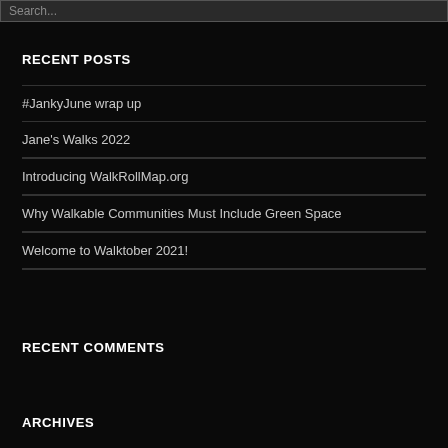Search...
RECENT POSTS
#JankyJune wrap up
Jane's Walks 2022
Introducing WalkRollMap.org
Why Walkable Communities Must Include Green Space
Welcome to Walktober 2021!
RECENT COMMENTS
ARCHIVES